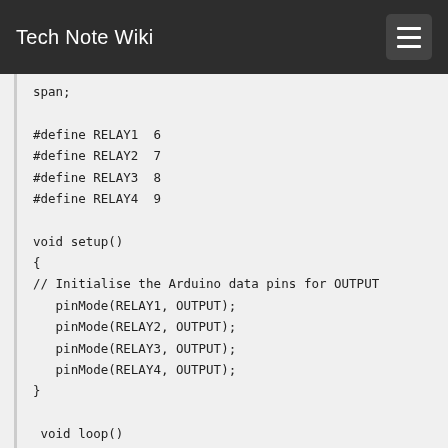Tech Note Wiki
span;
#define RELAY1  6
#define RELAY2  7
#define RELAY3  8
#define RELAY4  9

void setup()
{
// Initialise the Arduino data pins for OUTPUT
   pinMode(RELAY1, OUTPUT);
   pinMode(RELAY2, OUTPUT);
   pinMode(RELAY3, OUTPUT);
   pinMode(RELAY4, OUTPUT);
}

 void loop()
{
   digitalWrite(RELAY1,LOW);            // Turns ON Relays 1
   delay(2000);
// Wait 2 seconds